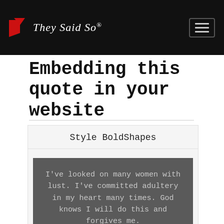They Said So®
Embedding this quote in your website
Style BoldShapes
I've looked on many women with lust. I've committed adultery in my heart many times. God knows I will do this and forgives me.